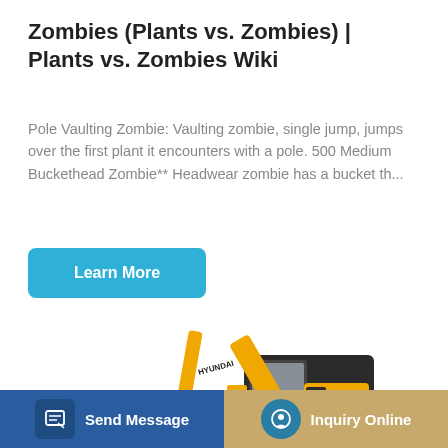Zombies (Plants vs. Zombies) | Plants vs. Zombies Wiki
Pole Vaulting Zombie: Vaulting zombie, single jump, jumps over the first plant it encounters with a pole. 500 Medium Buckethead Zombie** Headwear zombie has a bucket th...
[Figure (illustration): Yellow Hyundai mini excavator/construction machine on white background]
Send Message
Inquiry Online